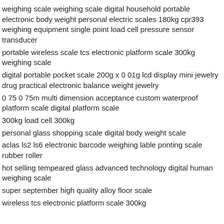weighing scale weighing scale digital household portable electronic body weight personal electric scales 180kg cpr393 weighing equipment single point load cell pressure sensor transducer
portable wireless scale tcs electronic platform scale 300kg weighing scale
digital portable pocket scale 200g x 0 01g lcd display mini jewelry drug practical electronic balance weight jewelry
0 75 0 75m multi dimension acceptance custom waterproof platform scale digital platform scale
300kg load cell 300kg
personal glass shopping scale digital body weight scale
aclas ls2 ls6 electronic barcode weighing lable printing scale rubber roller
hot selling tempeared glass advanced technology digital human weighing scale
super september high quality alloy floor scale
wireless tcs electronic platform scale 300kg